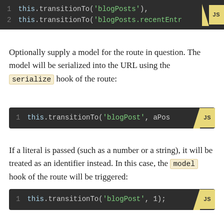[Figure (screenshot): Code block showing: 1  this.transitionTo('blogPosts'); 2  this.transitionTo('blogPosts.recentEntr... with JS badge]
Optionally supply a model for the route in question. The model will be serialized into the URL using the serialize hook of the route:
[Figure (screenshot): Code block showing: 1  this.transitionTo('blogPost', aPos... with JS badge]
If a literal is passed (such as a number or a string), it will be treated as an identifier instead. In this case, the model hook of the route will be triggered:
[Figure (screenshot): Code block showing: 1  this.transitionTo('blogPost', 1); with JS badge]
Multiple models will be applied last to first recursively up the route tree.
[Figure (screenshot): Partial code block at bottom of page with JS badge visible]